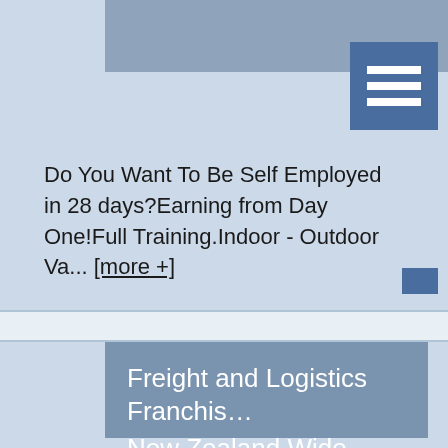[Figure (other): Top navigation bar with grey background and dark blue hamburger menu icon with three white horizontal lines]
Do You Want To Be Self Employed in 28 days?Earning from Day One!Full Training.Indoor - Outdoor Va... [more +]
[Figure (other): Small blue video camera icon]
Freight and Logistics Franchis…
New Zealand Wide
$160,000